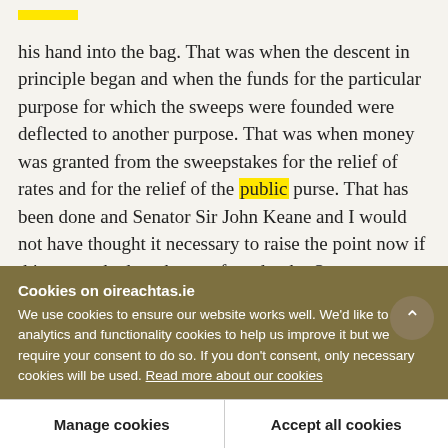his hand into the bag. That was when the descent in principle began and when the funds for the particular purpose for which the sweeps were founded were deflected to another purpose. That was when money was granted from the sweepstakes for the relief of rates and for the relief of the public purse. That has been done and Senator Sir John Keane and I would not have thought it necessary to raise the point now if this matter had not been referred to by Senator Fitzgerald.
Cookies on oireachtas.ie
We use cookies to ensure our website works well. We'd like to use analytics and functionality cookies to help us improve it but we require your consent to do so. If you don't consent, only necessary cookies will be used. Read more about our cookies
Manage cookies
Accept all cookies